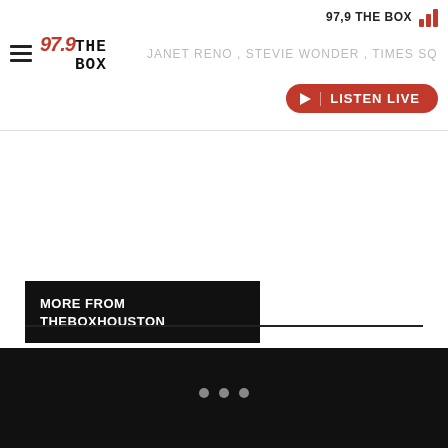97,9 THE BOX
JANET RENO , STEVIE WONDER , TIMES SQUARE
LISTEN LIVE
MORE FROM THEBOXHOUSTON